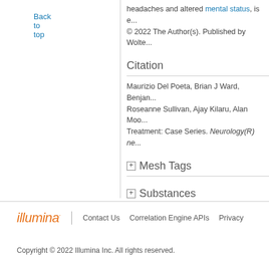Back to top
headaches and altered mental status, is e...
© 2022 The Author(s). Published by Wolte...
Citation
Maurizio Del Poeta, Brian J Ward, Benjan... Roseanne Sullivan, Ajay Kilaru, Alan Moo... Treatment: Case Series. Neurology(R) ne...
Mesh Tags
Substances
PMID: 35318259
View Full Text
illumina | Contact Us  Correlation Engine APIs  Privacy
Copyright © 2022 Illumina Inc. All rights reserved.